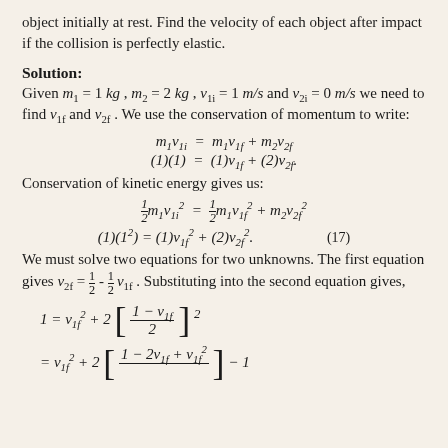object initially at rest. Find the velocity of each object after impact if the collision is perfectly elastic.
Solution:
Given m1 = 1 kg, m2 = 2 kg, v1i = 1 m/s and v2i = 0 m/s we need to find v1f and v2f. We use the conservation of momentum to write:
Conservation of kinetic energy gives us:
We must solve two equations for two unknowns. The first equation gives v2f = 1/2 - 1/2 v1f. Substituting into the second equation gives,